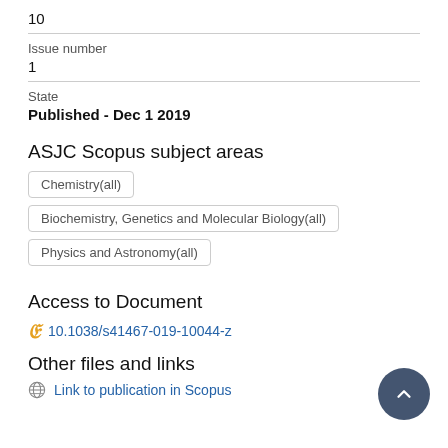10
Issue number
1
State
Published - Dec 1 2019
ASJC Scopus subject areas
Chemistry(all)
Biochemistry, Genetics and Molecular Biology(all)
Physics and Astronomy(all)
Access to Document
10.1038/s41467-019-10044-z
Other files and links
Link to publication in Scopus